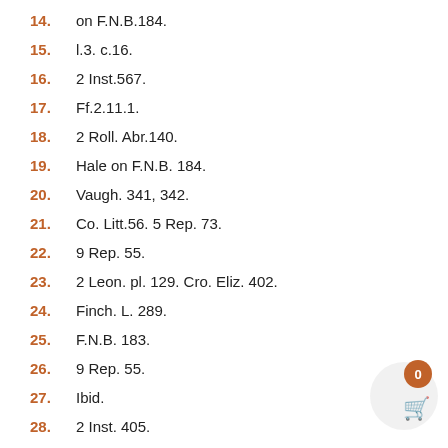14. on F.N.B.184.
15. l.3. c.16.
16. 2 Inst.567.
17. Ff.2.11.1.
18. 2 Roll. Abr.140.
19. Hale on F.N.B. 184.
20. Vaugh. 341, 342.
21. Co. Litt.56. 5 Rep. 73.
22. 9 Rep. 55.
23. 2 Leon. pl. 129. Cro. Eliz. 402.
24. Finch. L. 289.
25. F.N.B. 183.
26. 9 Rep. 55.
27. Ibid.
28. 2 Inst. 405.
29. F.N.B. 124.
30. F.Rep. 100. 101.